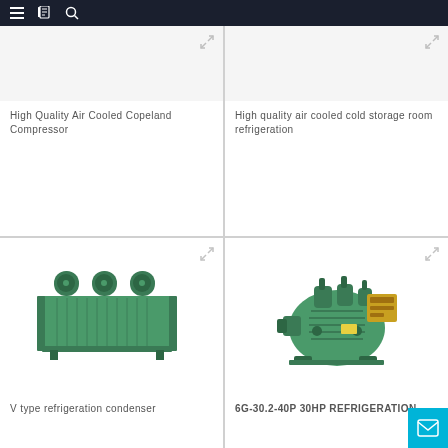Navigation bar with menu, catalog, and search icons
[Figure (photo): High Quality Air Cooled Copeland Compressor product image (partially visible at top)]
High Quality Air Cooled Copeland Compressor
[Figure (photo): High quality air cooled cold storage room refrigeration product image (partially visible at top)]
High quality air cooled cold storage room refrigeration
[Figure (photo): V type refrigeration condenser - green industrial unit with three fans on top and heat exchanger fins on the side]
V type refrigeration condenser
[Figure (photo): 6G-30.2-40P 30HP REFRIGERATION compressor - green industrial compressor unit]
6G-30.2-40P 30HP REFRIGERATION